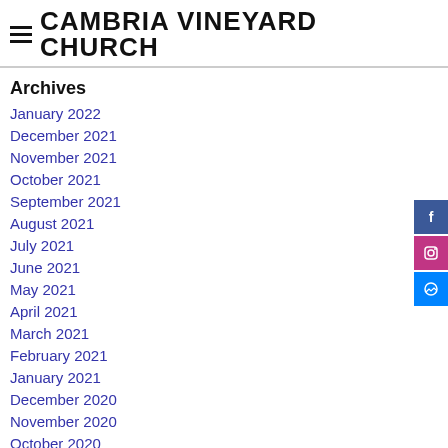CAMBRIA VINEYARD CHURCH
Archives
January 2022
December 2021
November 2021
October 2021
September 2021
August 2021
July 2021
June 2021
May 2021
April 2021
March 2021
February 2021
January 2021
December 2020
November 2020
October 2020